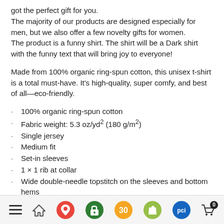got the perfect gift for you.
The majority of our products are designed especially for men, but we also offer a few novelty gifts for women.
The product is a funny shirt. The shirt will be a Dark shirt with the funny text that will bring joy to everyone!
Made from 100% organic ring-spun cotton, this unisex t-shirt is a total must-have. It's high-quality, super comfy, and best of all—eco-friendly.
100% organic ring-spun cotton
Fabric weight: 5.3 oz/yd² (180 g/m²)
Single jersey
Medium fit
Set-in sleeves
1 × 1 rib at collar
Wide double-needle topstitch on the sleeves and bottom hems
Self-fabric neck tape (inside, back of the neck)
Blank product sourced from China or Bangladesh
Navigation bar with home, maps, lock, 30, shop, pci, and cart icons